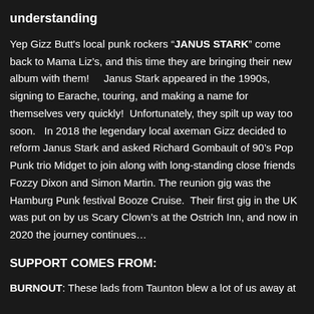understanding
Yep Gizz Butt's local punk rockers "JANUS STARK" come back to Mama Liz's, and this time they are bringing their new album with them!    Janus Stark appeared in the 1990s, signing to Earache, touring, and making a name for themselves very quickly!  Unfortunately, they spilt up way too soon.   In 2018 the legendary local axeman Gizz decided to reform Janus Stark and asked Richard Gombault of 90's Pop Punk trio Midget to join along with long-standing close friends Fozzy Dixon and Simon Martin. The reunion gig was the Hamburg Punk festival Booze Cruise.  Their first gig in the UK was put on by us Scary Clown's at the Ostrich Inn, and now in 2020 the journey continues…
SUPPORT COMES FROM:
BURNOUT: These lads from Taunton blew a lot of us away at